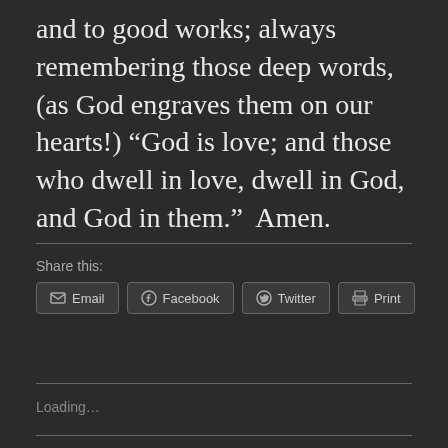and to good works; always remembering those deep words, (as God engraves them on our hearts!) “God is love; and those who dwell in love, dwell in God, and God in them.”  Amen.
Share this:
Email
Facebook
Twitter
Print
Loading…